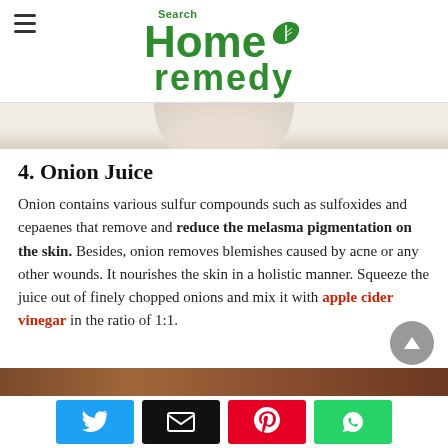Search Home remedy
[Figure (photo): Hero image strip showing a light background, partial circular object visible]
4. Onion Juice
Onion contains various sulfur compounds such as sulfoxides and cepaenes that remove and reduce the melasma pigmentation on the skin. Besides, onion removes blemishes caused by acne or any other wounds. It nourishes the skin in a holistic manner. Squeeze the juice out of finely chopped onions and mix it with apple cider vinegar in the ratio of 1:1.
[Figure (photo): Bottom strip showing a dark brownish object, partially visible]
Social share buttons: Twitter, Email, Pinterest, WhatsApp